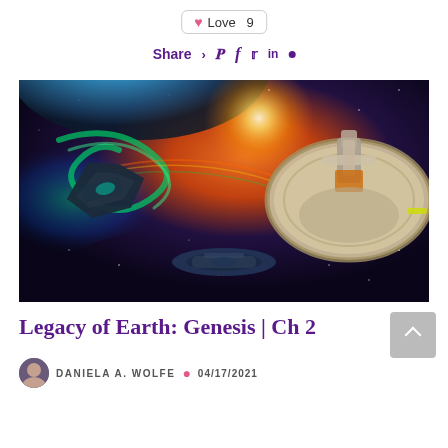Love 9
Share > Pinterest Facebook Twitter LinkedIn •
[Figure (illustration): Science fiction space scene showing multiple spaceships near a planet with colorful nebula clouds, a star/sun flare, and a large disc-shaped space station on the right side.]
Legacy of Earth: Genesis | Ch 2
DANIELA A. WOLFE • 04/17/2021